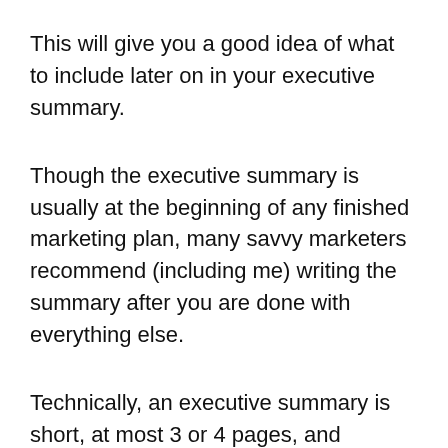This will give you a good idea of what to include later on in your executive summary.
Though the executive summary is usually at the beginning of any finished marketing plan, many savvy marketers recommend (including me) writing the summary after you are done with everything else.
Technically, an executive summary is short, at most 3 or 4 pages, and highlights only the business plan's main points.